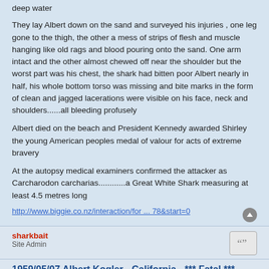deep water
They lay Albert down on the sand and surveyed his injuries , one leg gone to the thigh, the other a mess of strips of flesh and muscle hanging like old rags and blood pouring onto the sand. One arm intact and the other almost chewed off near the shoulder but the worst part was his chest, the shark had bitten poor Albert nearly in half, his whole bottom torso was missing and bite marks in the form of clean and jagged lacerations were visible on his face, neck and shoulders......all bleeding profusely
Albert died on the beach and President Kennedy awarded Shirley the young American peoples medal of valour for acts of extreme bravery
At the autopsy medical examiners confirmed the attacker as Carcharodon carcharias............a Great White Shark measuring at least 4.5 metres long
http://www.biggie.co.nz/interaction/for ... 78&start=0
sharkbait
Site Admin
1959/05/07 Albert Kogler - California - *** Fatal ***
Mon Jun 23, 2008 12:42 am